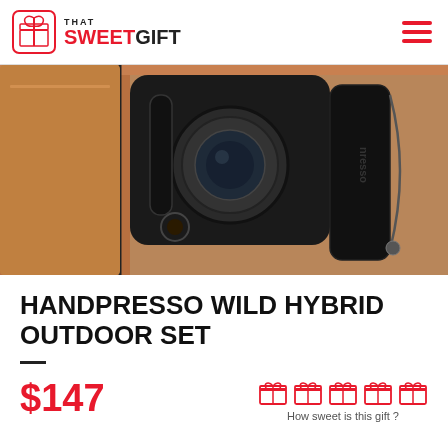That SWEETGIFT
[Figure (photo): Close-up photo of Handpresso Wild Hybrid Outdoor Set showing espresso maker components in an orange zippered case, with black portable espresso machine parts including a pump and capsule holder]
HANDPRESSO WILD HYBRID OUTDOOR SET
$147
How sweet is this gift ?